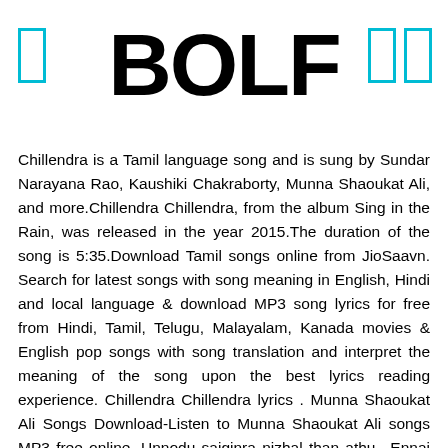[Figure (logo): BOLF logo in large bold black uppercase text with cyan/teal bracket-like icons on left and right sides]
Chillendra is a Tamil language song and is sung by Sundar Narayana Rao, Kaushiki Chakraborty, Munna Shaoukat Ali, and more.Chillendra Chillendra, from the album Sing in the Rain, was released in the year 2015.The duration of the song is 5:35.Download Tamil songs online from JioSaavn. Search for latest songs with song meaning in English, Hindi and local language & download MP3 song lyrics for free from Hindi, Tamil, Telugu, Malayalam, Kanada movies & English pop songs with song translation and interpret the meaning of the song upon the best lyrics reading experience. Chillendra Chillendra lyrics . Munna Shaoukat Ali Songs Download-Listen to Munna Shaoukat Ali songs MP3 free online. Unnodu saiginra nizhal than athu.. Ennai pol penendru,achaaga innondru Chillendra Chillendra song by Sundar Narayana Rao, Kaushiki Chakraborty, Munna Shaoukat Ali, Ghibran now on JioSaavn. Play Munna Shaoukat Ali hit new songs and download Munna Shaoukat Ali MP3 songs … English □□□□ ...